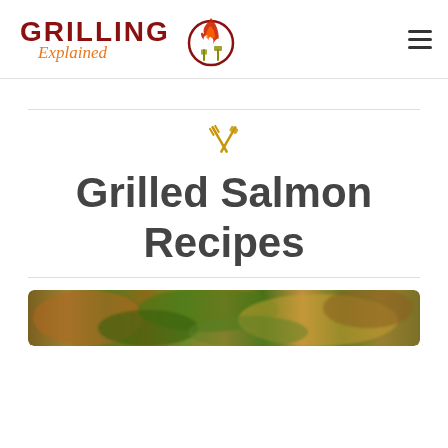[Figure (logo): Grilling Explained logo with flame and utensils icon]
Grilled Salmon Recipes
[Figure (photo): Close-up photo of grilled food with vegetables, blurred background]